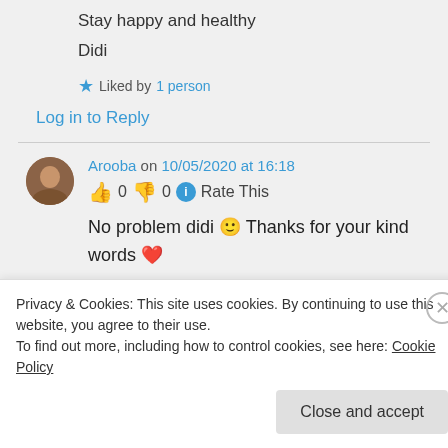Stay happy and healthy
Didi
★ Liked by 1 person
Log in to Reply
Arooba on 10/05/2020 at 16:18
👍 0 👎 0 ℹ Rate This
No problem didi 🙂 Thanks for your kind words ❤
Privacy & Cookies: This site uses cookies. By continuing to use this website, you agree to their use.
To find out more, including how to control cookies, see here: Cookie Policy